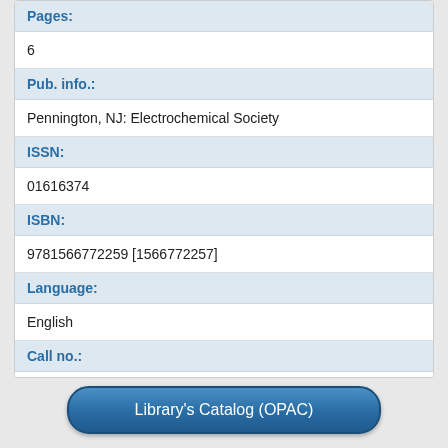| Pages: | 6 |
| Pub. info.: | Pennington, NJ: Electrochemical Society |
| ISSN: | 01616374 |
| ISBN: | 9781566772259 [1566772257] |
| Language: | English |
| Call no.: | E23400/99-3 |
| Type: | Conference Proceedings |
Library's Catalog (OPAC)